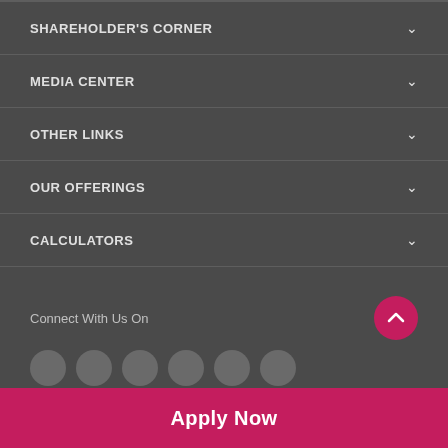SHAREHOLDER'S CORNER
MEDIA CENTER
OTHER LINKS
OUR OFFERINGS
CALCULATORS
BANK SMART
OVERSEAS PRESENCE
AXIS BANK COUNTRY WEBSITE
Countries
Connect With Us On
Apply Now